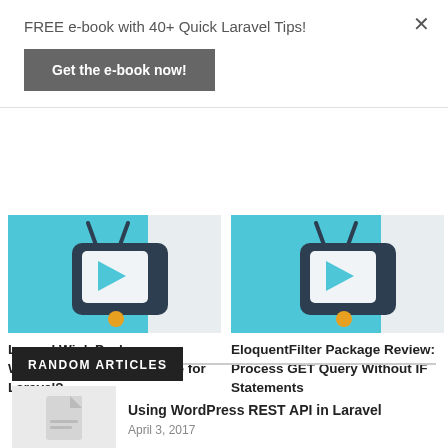FREE e-book with 40+ Quick Laravel Tips!
Get the e-book now!
[Figure (illustration): TV robot icon with play button on light blue and grey background - article thumbnail for Laravel Wink Package]
Laravel Wink Package: WordPress Mini-Alternative for Laravel?
[Figure (illustration): TV robot icon with play button on light blue and grey background - article thumbnail for EloquentFilter Package Review]
EloquentFilter Package Review: Process GET Query Without IF Statements
RANDOM ARTICLES
[Figure (illustration): Placeholder thumbnail image for article]
Using WordPress REST API in Laravel
April 3, 2017